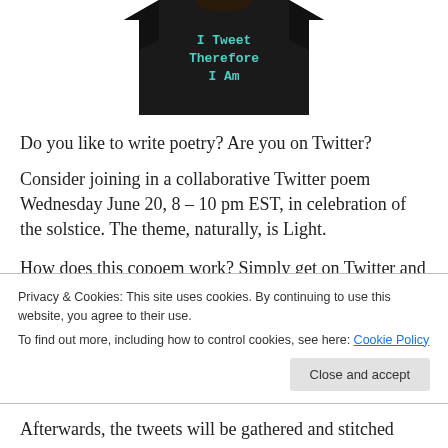[Figure (photo): Person wearing a black t-shirt with teal text reading 'I Tweet Therefore I Am']
Do you like to write poetry? Are you on Twitter?
Consider joining in a collaborative Twitter poem Wednesday June 20, 8 – 10 pm EST, in celebration of the solstice. The theme, naturally, is Light.
How does this copoem work? Simply get on Twitter and
Privacy & Cookies: This site uses cookies. By continuing to use this website, you agree to their use.
To find out more, including how to control cookies, see here: Cookie Policy
Afterwards, the tweets will be gathered and stitched